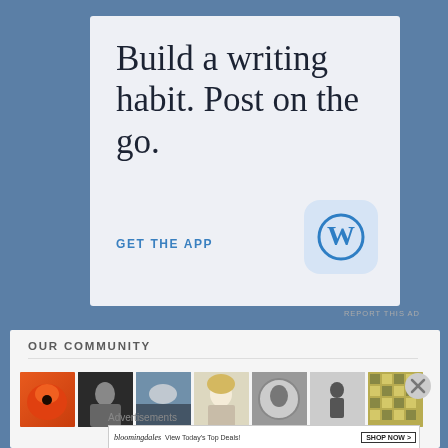[Figure (screenshot): WordPress mobile app advertisement: white card on blue background with text 'Build a writing habit. Post on the go.' and 'GET THE APP' link with WordPress logo icon]
REPORT THIS AD
OUR COMMUNITY
[Figure (photo): Row of thumbnail photos showing various subjects: red poppy, black and white portrait, landscape, blonde woman, circular mirror/face, figure, baby/child, decorative pattern]
Advertisements
[Figure (screenshot): Bloomingdale's advertisement banner: 'bloomingdales View Today's Top Deals!' with woman in hat and 'SHOP NOW >' button]